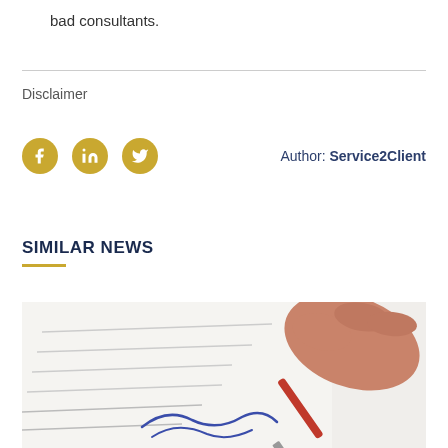bad consultants.
Disclaimer
[Figure (infographic): Social share icons (Facebook, LinkedIn, Twitter) and author attribution: Author: Service2Client]
SIMILAR NEWS
[Figure (photo): Close-up photo of a hand holding a red pen, signing a document with a signature.]